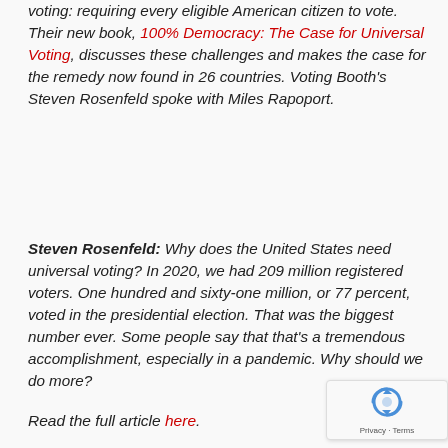voting: requiring every eligible American citizen to vote. Their new book, 100% Democracy: The Case for Universal Voting, discusses these challenges and makes the case for the remedy now found in 26 countries. Voting Booth's Steven Rosenfeld spoke with Miles Rapoport.
Steven Rosenfeld: Why does the United States need universal voting? In 2020, we had 209 million registered voters. One hundred and sixty-one million, or 77 percent, voted in the presidential election. That was the biggest number ever. Some people say that that's a tremendous accomplishment, especially in a pandemic. Why should we do more?
Read the full article here.